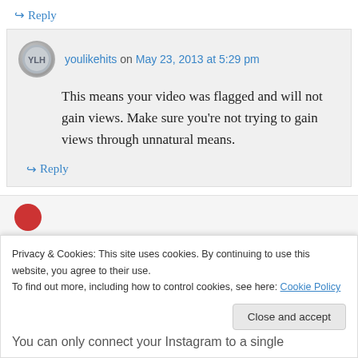↪ Reply
youlikehits on May 23, 2013 at 5:29 pm
This means your video was flagged and will not gain views. Make sure you're not trying to gain views through unnatural means.
↪ Reply
Privacy & Cookies: This site uses cookies. By continuing to use this website, you agree to their use. To find out more, including how to control cookies, see here: Cookie Policy
Close and accept
You can only connect your Instagram to a single